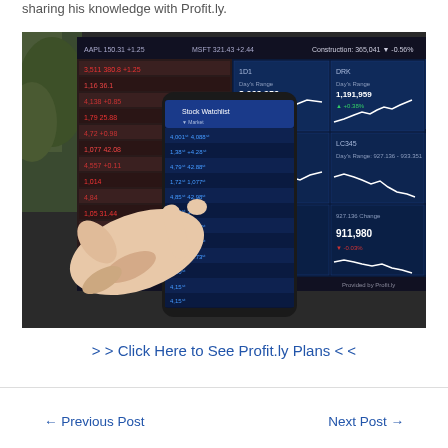sharing his knowledge with Profit.ly.
[Figure (photo): Person pointing at a smartphone showing stock trading app, with a financial trading monitor/screen displaying stock charts and data in the background]
> > Click Here to See Profit.ly Plans < <
← Previous Post
Next Post →